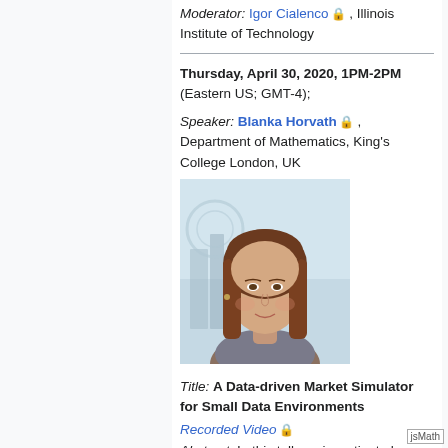Moderator: Igor Cialenco 🔒 , Illinois Institute of Technology
Thursday, April 30, 2020, 1PM-2PM (Eastern US; GMT-4);
Speaker: Blanka Horvath 🔒 , Department of Mathematics, King's College London, UK
[Figure (photo): Portrait photo of Blanka Horvath, a woman with long brown hair, smiling, with a blurred city background]
Title: A Data-driven Market Simulator for Small Data Environments
Recorded Video 🔒
Abstract: In this talk we investigate how Deep Hedging brings a new impetus into the